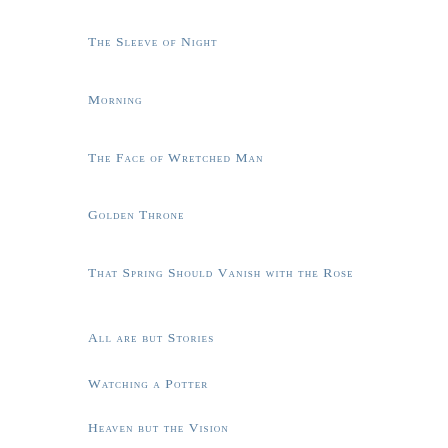The Sleeve of Night
Morning
The Face of Wretched Man
Golden Throne
That Spring Should Vanish with the Rose
All are but Stories
Watching a Potter
Heaven but the Vision